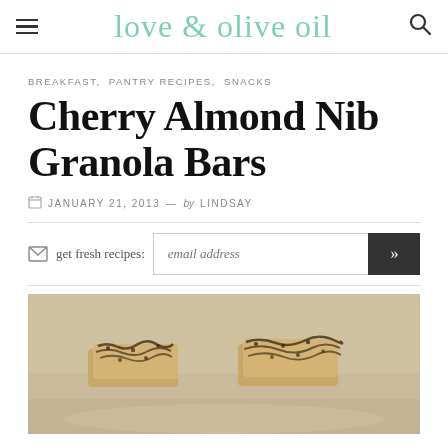love & olive oil
BREAKFAST, PANTRY RECIPES, SNACKS
Cherry Almond Nib Granola Bars
JANUARY 21, 2013 — by LINDSAY
get fresh recipes: email address
[Figure (photo): Close-up photo of cherry almond nib granola bars with chocolate drizzle on top, stacked on a light surface]